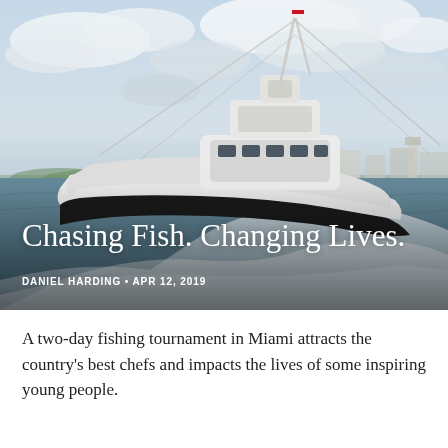[Figure (photo): A large white sport fishing boat speeding through choppy ocean water near a harbor, with a cloudy sky in the background. Buildings and structures visible on the shoreline.]
Chasing Fish. Changing Lives.
DANIEL HARDING • APR 12, 2019
A two-day fishing tournament in Miami attracts the country's best chefs and impacts the lives of some inspiring young people.